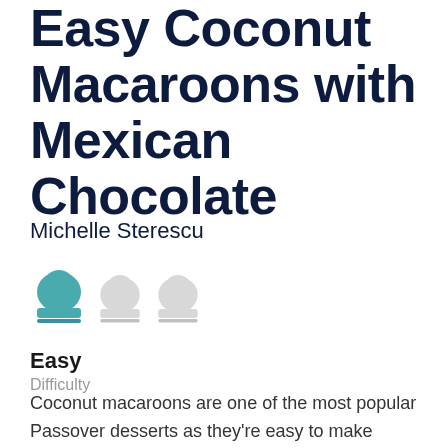Easy Coconut Macaroons with Mexican Chocolate
Michelle Sterescu
[Figure (illustration): Three chef hat icons: first one filled in teal/blue, second and third are light gray outlines]
Easy
Difficulty
Coconut macaroons are one of the most popular Passover desserts as they're easy to make kosher for Passover. It might seem difficult to make with all of the food restrictions, but this recipe makes it easy! Also,